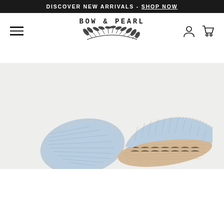DISCOVER NEW ARRIVALS - SHOP NOW
[Figure (logo): Bow & Pearl brand logo with decorative leaf/branch illustration and text BOW & PEARL]
[Figure (photo): Overhead view of two light blue ribbed espadrille shoes on a light grey background, one showing the top and one showing the side with jute sole]